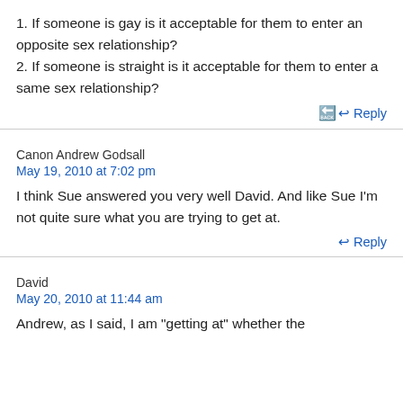1. If someone is gay is it acceptable for them to enter an opposite sex relationship?
2. If someone is straight is it acceptable for them to enter a same sex relationship?
Reply
Canon Andrew Godsall
May 19, 2010 at 7:02 pm
I think Sue answered you very well David. And like Sue I'm not quite sure what you are trying to get at.
Reply
David
May 20, 2010 at 11:44 am
Andrew, as I said, I am "getting at" whether the